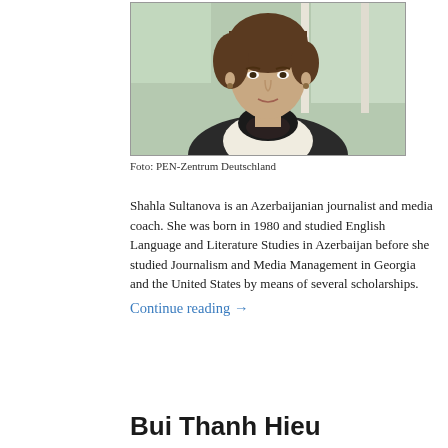[Figure (photo): Portrait photograph of Shahla Sultanova, a young woman with short brown hair, wearing a dark necklace, seated in front of a window with greenery visible outside.]
Foto: PEN-Zentrum Deutschland
Shahla Sultanova is an Azerbaijanian journalist and media coach. She was born in 1980 and studied English Language and Literature Studies in Azerbaijan before she studied Journalism and Media Management in Georgia and the United States by means of several scholarships.
Continue reading →
Bui Thanh Hieu